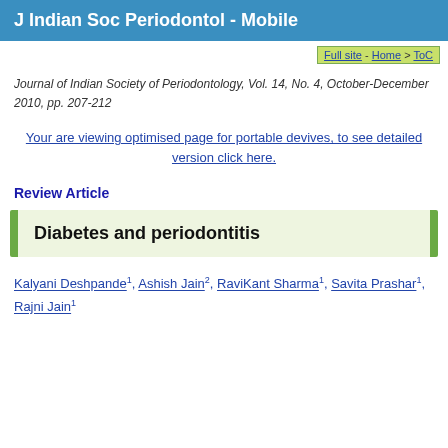J Indian Soc Periodontol - Mobile
Full site - Home > ToC
Journal of Indian Society of Periodontology, Vol. 14, No. 4, October-December 2010, pp. 207-212
Your are viewing optimised page for portable devives, to see detailed version click here.
Review Article
Diabetes and periodontitis
Kalyani Deshpande1, Ashish Jain2, RaviKant Sharma1, Savita Prashar1, Rajni Jain1